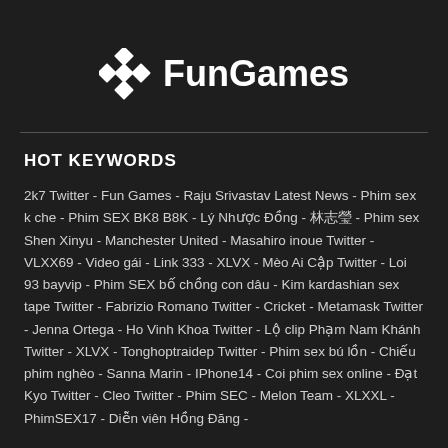[Figure (logo): FunGames logo with a diamond/rhombus icon on the left and bold text 'FunGames' on the right, white on dark background]
HOT KEYWORDS
2k7 Twitter - Fun Games - Raju Srivastav Latest News - Phim sex k che - Phim SEX BK8 B8K - Lý Nhược Đồng - 林志玲 - Phim sex Shen Xinyu - Manchester United - Masahiro inoue Twitter - VLXX69 - Video gái - Link 333 - XLVX - Mèo Ai Cập Twitter - Loi 93 bayvip - Phim SEX bố chồng con dâu - Kim kardashian sex tape Twitter - Fabrizio Romano Twitter - Cricket - Metamask Twitter - Jenna Ortega - Ho Vinh Khoa Twitter - Lộ clip Phạm Nam Khánh Twitter - XLVX - Tonghoptraidep Twitter - Phim sex bú lồn - Chiếu phim nghèo - Sanna Marin - IPhone14 - Coi phim sex online - Đạt Kyo Twitter - Cleo Twitter - Phim SEC - Melon Team - XLXXL - PhimSEX17 - Diễn viên Hồng Đăng -